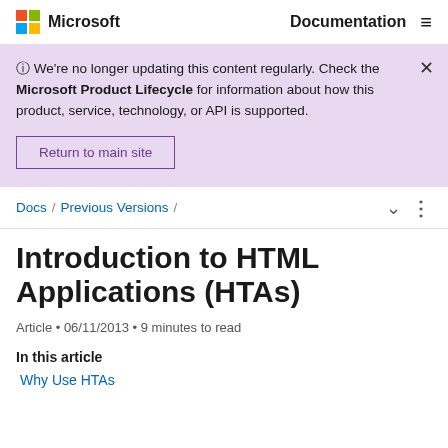Microsoft  Documentation
⊙ We're no longer updating this content regularly. Check the Microsoft Product Lifecycle for information about how this product, service, technology, or API is supported.
Return to main site
Docs / Previous Versions /
Introduction to HTML Applications (HTAs)
Article • 06/11/2013 • 9 minutes to read
In this article
Why Use HTAs